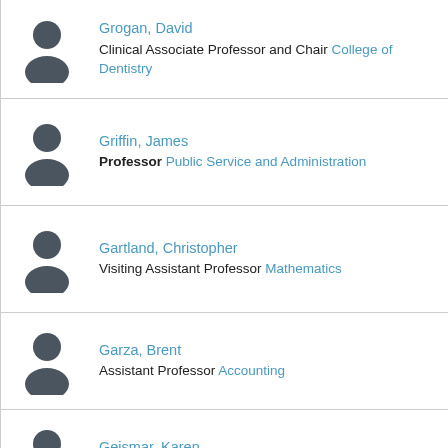Grogan, David — Clinical Associate Professor and Chair — College of Dentistry
Griffin, James — Professor — Public Service and Administration
Gartland, Christopher — Visiting Assistant Professor — Mathematics
Garza, Brent — Assistant Professor — Accounting
Geismar, Karen — Lecturer — Nutrition